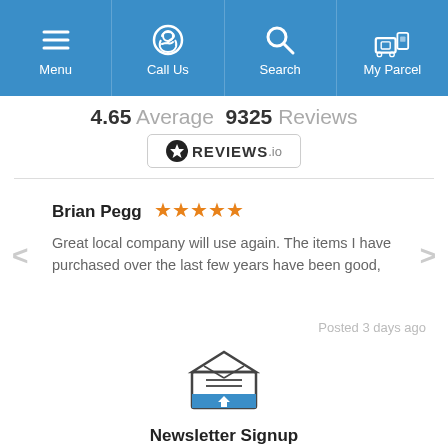[Figure (screenshot): Navigation bar with Menu, Call Us, Search, My Parcel icons on blue background]
4.65 Average  9325 Reviews
[Figure (logo): REVIEWS.io badge with star logo]
Brian Pegg ★★★★★
Great local company will use again. The items I have purchased over the last few years have been good,
Posted 3 days ago
[Figure (illustration): Newsletter signup envelope icon with blue upload arrow]
Newsletter Signup